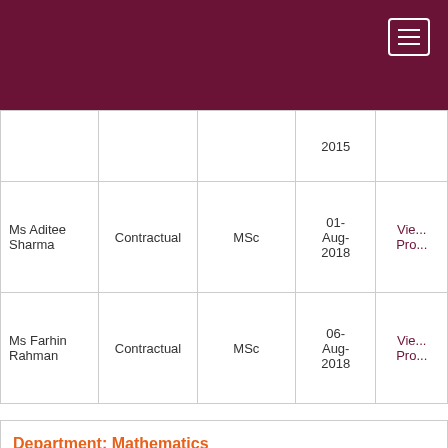Navigation header bar with hamburger menu
| Name | Designation | Qualification | Date of Joining | View Profile |
| --- | --- | --- | --- | --- |
|  |  |  | 2015 | View Pro... |
| Ms Aditee Sharma | Contractual | MSc | 01-Aug-2018 | View Pro... |
| Ms Farhin Rahman | Contractual | MSc | 06-Aug-2018 | View Pro... |
Department: Mathematics
| Name | Designation | Qualification | Date of Joining | View Profile |
| --- | --- | --- | --- | --- |
|  | Associate |  | 06- |  |